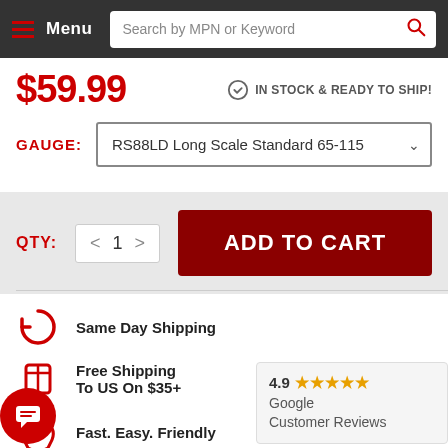Menu | Search by MPN or Keyword
$59.99
IN STOCK & READY TO SHIP!
GAUGE: RS88LD Long Scale Standard 65-115
QTY: 1 | ADD TO CART
Same Day Shipping
Free Shipping To US On $35+
Fast. Easy. Friendly
4.9 ★★★★★ Google Customer Reviews